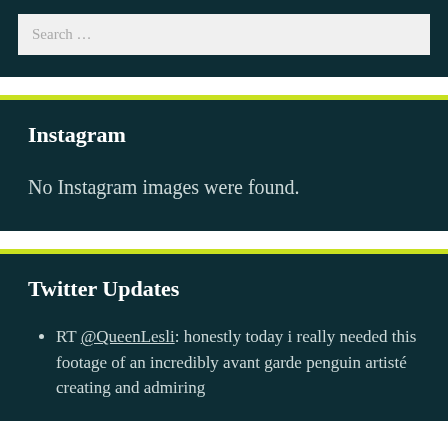Search …
Instagram
No Instagram images were found.
Twitter Updates
RT @QueenLesli: honestly today i really needed this footage of an incredibly avant garde penguin artisté creating and admiring